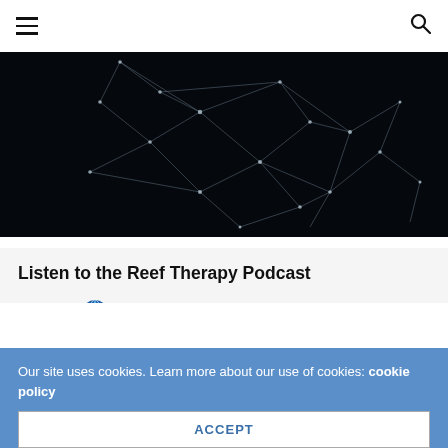≡ [hamburger menu] [search icon]
[Figure (illustration): Dark background with white glowing network/mesh lines forming an abstract shape, resembling a neural network or constellation pattern]
Listen to the Reef Therapy Podcast
[Figure (logo): ICP Analysis logo — text 'ICP' followed by a blue water drop globe icon and the word 'ANALYSIS' in blue capital letters, with tagline 'What's in your water?' below]
powered by ICP Analysis.
Reef Therapy by Reef Builders
Our site uses cookies. Learn more about our use of cookies: cookie policy
ACCEPT